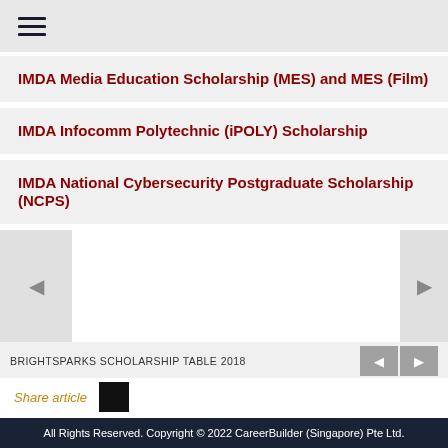≡ (hamburger menu)
IMDA Media Education Scholarship (MES) and MES (Film)
IMDA Infocomm Polytechnic (iPOLY) Scholarship
IMDA National Cybersecurity Postgraduate Scholarship (NCPS)
[Figure (other): Carousel navigation area with left and right arrows]
BRIGHTSPARKS SCHOLARSHIP TABLE 2018
Share article
All Rights Reserved. Copyright © 2022 CareerBuilder (Singapore) Pte Ltd.